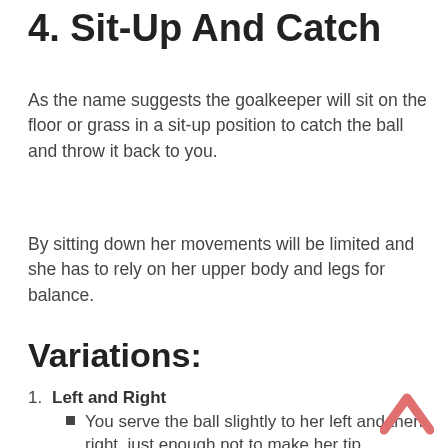4. Sit-Up And Catch
As the name suggests the goalkeeper will sit on the floor or grass in a sit-up position to catch the ball and throw it back to you.
By sitting down her movements will be limited and she has to rely on her upper body and legs for balance.
Variations:
Left and Right
You serve the ball slightly to her left and then right, just enough not to make her tip sideways.
This will force her to stretch sideways from left to right to catch the ball.
Roll-Back